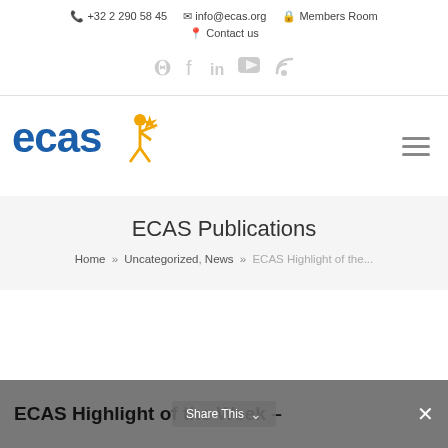📞 +32 2 290 58 45  ✉ info@ecas.org  🔒 Members Room  📍 Contact us
[Figure (logo): ECAS logo with blue text and yellow star figure]
ECAS Publications
Home » Uncategorized, News » ECAS Highlight of the...
ECAS Highlight of the Week –
Share This